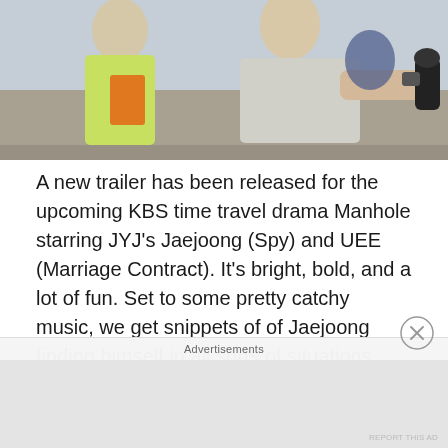[Figure (photo): Action/drama photo showing people, one wearing yellow and orange, another in gray holding a handle or weapon prop]
A new trailer has been released for the upcoming KBS time travel drama Manhole starring JYJ’s Jaejoong (Spy) and UEE (Marriage Contract). It’s bright, bold, and a lot of fun. Set to some pretty catchy music, we get snippets of of Jaejoong finding himself in all sorts of situations from water battles, to fire rescues, and all sorts of things.
And the part at the beginning where he slowly raises out of the manhole he uses to time travel absolutely cracked me up! I sure do hope the drama is this zany and fun!
Advertisements